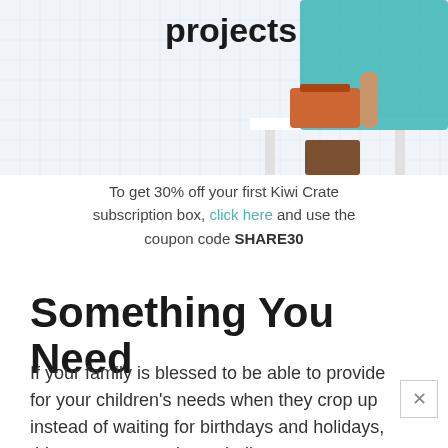[Figure (photo): Partial view of a woman in teal top holding an orange toolbox on a white table, with a grid background. Text 'projects' visible at top.]
To get 30% off your first Kiwi Crate subscription box, click here and use the coupon code SHARE30
Something You Need
If your family is blessed to be able to provide for your children's needs when they crop up instead of waiting for birthdays and holidays, this category may be a challenge.